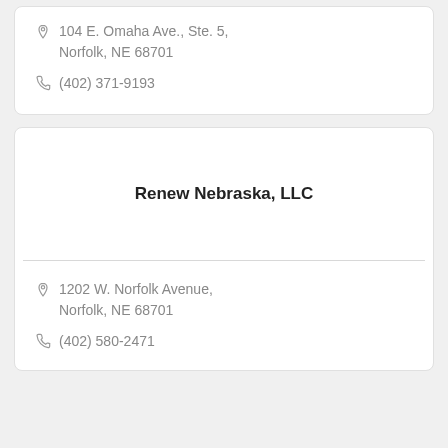104 E. Omaha Ave., Ste. 5, Norfolk, NE 68701
(402) 371-9193
Renew Nebraska, LLC
1202 W. Norfolk Avenue, Norfolk, NE 68701
(402) 580-2471